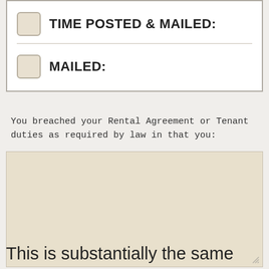TIME POSTED & MAILED:
MAILED:
You breached your Rental Agreement or Tenant duties as required by law in that you:
This is substantially the same